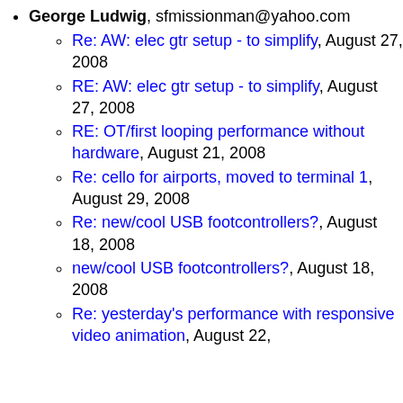George Ludwig, sfmissionman@yahoo.com
Re: AW: elec gtr setup - to simplify, August 27, 2008
RE: AW: elec gtr setup - to simplify, August 27, 2008
RE: OT/first looping performance without hardware, August 21, 2008
Re: cello for airports, moved to terminal 1, August 29, 2008
Re: new/cool USB footcontrollers?, August 18, 2008
new/cool USB footcontrollers?, August 18, 2008
Re: yesterday's performance with responsive video animation, August 22,